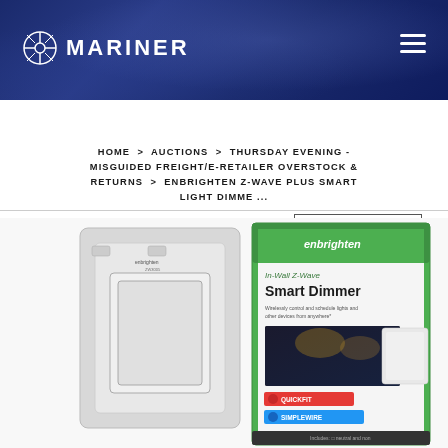MARINER
LOGIN/REGISTER
HOME > AUCTIONS > THURSDAY EVENING - MISGUIDED FREIGHT/E-RETAILER OVERSTOCK & RETURNS > ENBRIGHTEN Z-WAVE PLUS SMART LIGHT DIMME ...
[Figure (photo): Product photo of Enbrighten In-Wall Z-Wave Smart Dimmer showing the device and its retail box packaging with green and white colors. Box reads 'enbrighten In-Wall Z-Wave Smart Dimmer' with QUICKFIT and SIMPLEWIRE features listed.]